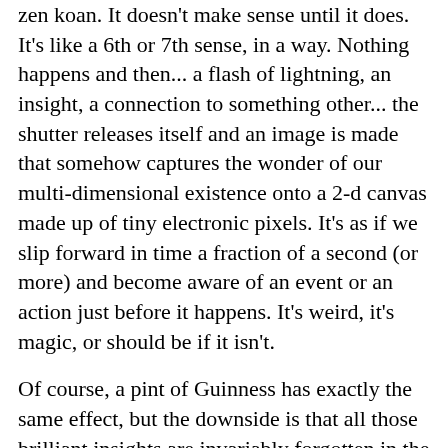zen koan. It doesn't make sense until it does. It's like a 6th or 7th sense, in a way. Nothing happens and then... a flash of lightning, an insight, a connection to something other... the shutter releases itself and an image is made that somehow captures the wonder of our multi-dimensional existence onto a 2-d canvas made up of tiny electronic pixels. It's as if we slip forward in time a fraction of a second (or more) and become aware of an event or an action just before it happens. It's weird, it's magic, or should be if it isn't.
Of course, a pint of Guinness has exactly the same effect, but the downside is that all those brilliant insights are invariably forgotten in the morning. Even the notes we scribbled carefully on the napkin are incomprehensible. Still, it's a pint of Guinness.
There's a purpose to this preamble - to grapple with the paradox of capturing movement. We'll adopt a two-pronged approach for the next two weeks as we photograph moving objects. We will observe a thing in